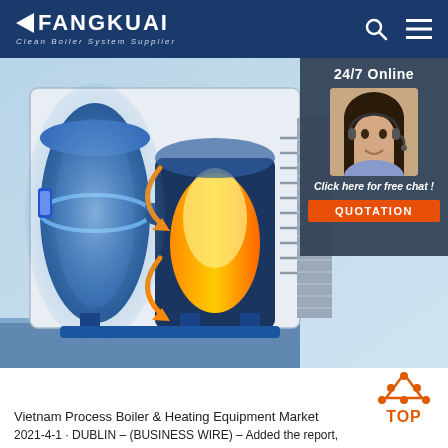FANGKUAI Clean Boiler System Supplier
[Figure (photo): Industrial boiler cutaway illustration showing internal combustion chamber with orange flame, blue cylindrical components, and heat exchanger tubes. Side panel shows a 24/7 online customer service agent (woman with headset). Button reads 'Click here for free chat!' and 'QUOTATION'.]
[Figure (illustration): TOP navigation button: orange triangle/chevron dots above orange 'TOP' text on white background]
Vietnam Process Boiler & Heating Equipment Market
2021-4-1 · DUBLIN – (BUSINESS WIRE) – Added the report,